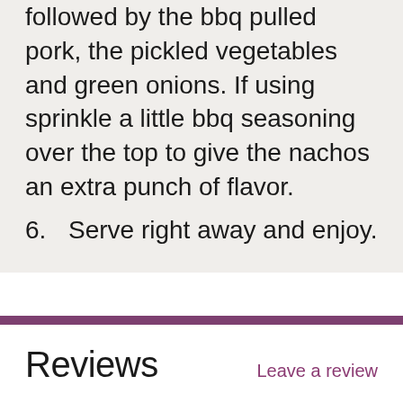followed by the bbq pulled pork, the pickled vegetables and green onions. If using sprinkle a little bbq seasoning over the top to give the nachos an extra punch of flavor.
6. Serve right away and enjoy.
Reviews
Leave a review
Be the first to review this recipe.